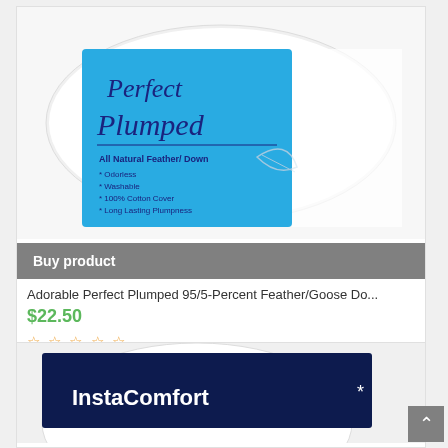[Figure (photo): Product photo of 'Perfect Plumped All Natural Feather/Down' pillow in white packaging with blue label listing features: Odorless, Washable, 100% Cotton Cover, Long Lasting Plumpness]
Buy product
Adorable Perfect Plumped 95/5-Percent Feather/Goose Do...
$22.50
☆ ☆ ☆ ☆ ☆
[Figure (photo): Partial product photo showing 'InstaComfort' branded pillow packaging with dark blue label]